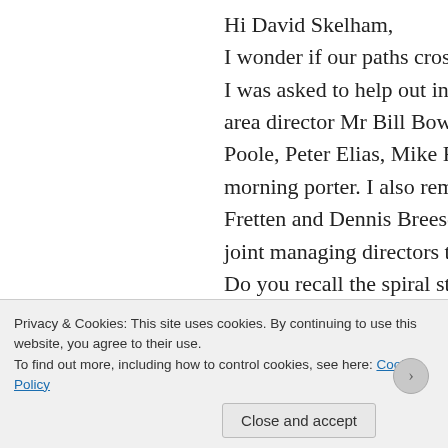Hi David Skelham,
I wonder if our paths crossed?
I was asked to help out in Oxford Street in 1977, the Q area director Mr Bill Bowden and I stayed for several y Poole, Peter Elias, Mike Ford, Alastair Dinsmore and R morning porter. I also remember Jack Faulkner, Mr Arr Fretten and Dennis Breese from Head office I believe M joint managing directors then as Mr Pedrick had retired Do you recall the spiral staircase to the spooky baseme trading floor where some of the fixtures remained with ceiling to the pavement above and the half blocked stai I do recall many staff from all over the country helping in lodgings around the New Oxford street area for seve Hartlepool with round rimmed glasses springs to mind
Privacy & Cookies: This site uses cookies. By continuing to use this website, you agree to their use.
To find out more, including how to control cookies, see here: Cookie Policy
Close and accept